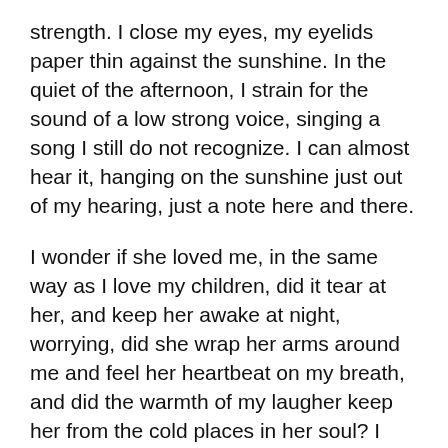strength.  I close my eyes, my eyelids paper thin against the sunshine.  In the quiet of the afternoon, I strain for the sound of a low strong voice, singing a song I still do not recognize.  I can almost hear it, hanging on the sunshine just out of my hearing, just a note here and there.
I wonder if she loved me, in the same way as I love my children, did it tear at her, and keep her awake at night, worrying, did she wrap her arms around me and feel her heartbeat on my breath, and did the warmth of my laugher keep her from the cold places in her soul?  I hope it did, I hope I gave her that.
Learn more about Debbie in her bio on the Featured Authors page.